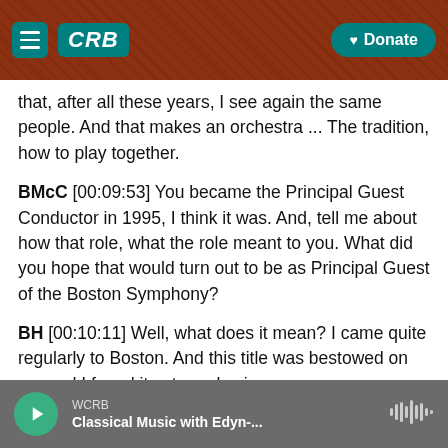[Figure (screenshot): CRB radio website header with hamburger menu, CRB logo in teal, and Donate button on burnt orange/brown textured background]
that, after all these years, I see again the same people. And that makes an orchestra ... The tradition, how to play together.
BMcC [00:09:53] You became the Principal Guest Conductor in 1995, I think it was. And, tell me about how that role, what the role meant to you. What did you hope that would turn out to be as Principal Guest of the Boston Symphony?
BH [00:10:11] Well, what does it mean? I came quite regularly to Boston. And this title was bestowed on me and I found it extremely nice
WCRB  Classical Music with Edyn-...